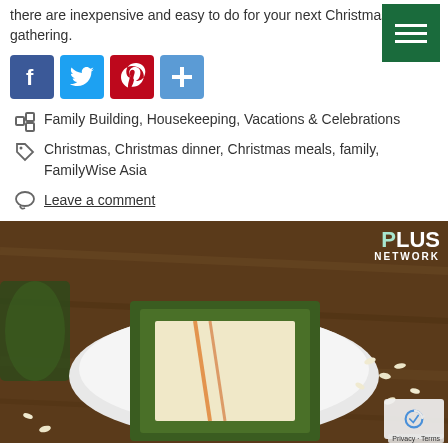there are inexpensive and easy to do for your next Christmas gathering.
[Figure (infographic): Social sharing icons: Facebook (blue), Twitter (light blue), Pinterest (red), Share (blue plus icon)]
Family Building, Housekeeping, Vacations & Celebrations
Christmas, Christmas dinner, Christmas meals, family, FamilyWise Asia
Leave a comment
[Figure (photo): Photo of a traditional wrapped food item (tamale or similar) on a white plate, with rice scattered on a wooden background. PLUS NETWORK watermark in top right corner.]